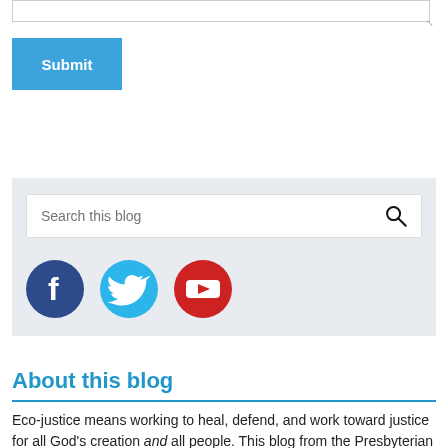[Figure (screenshot): Textarea input stub at top of page with resize handle in bottom-right corner]
Submit
[Figure (screenshot): Sidebar section with search bar and social media icons (Facebook, Twitter, YouTube)]
About this blog
Eco-justice means working to heal, defend, and work toward justice for all God's creation and all people. This blog from the Presbyterian Hunger Program (PHP) offers environmental and